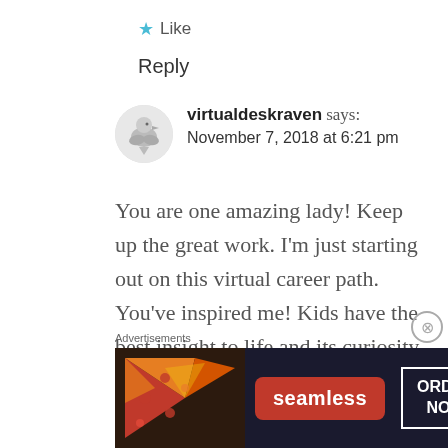★ Like
Reply
virtualdeskraven says: November 7, 2018 at 6:21 pm
You are one amazing lady! Keep up the great work. I'm just starting out on this virtual career path. You've inspired me! Kids have the best insight to life and its curiosity. Thank you for sharing and liking my blog post!
Advertisements
[Figure (photo): Seamless food delivery advertisement banner with pizza image, Seamless logo in red, and ORDER NOW button in white border]